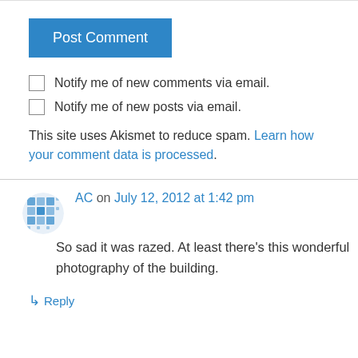[Figure (other): Post Comment button — blue rectangular button with white text]
Notify me of new comments via email.
Notify me of new posts via email.
This site uses Akismet to reduce spam. Learn how your comment data is processed.
AC on July 12, 2012 at 1:42 pm
So sad it was razed. At least there's this wonderful photography of the building.
↳ Reply